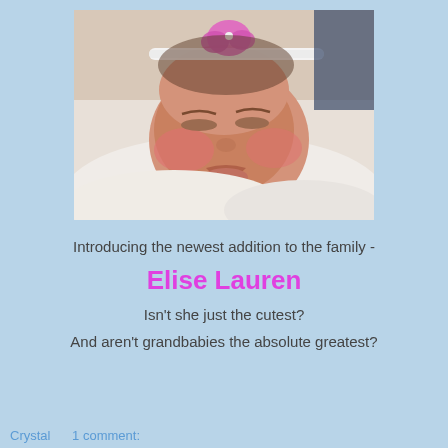[Figure (photo): Close-up photo of a newborn baby girl with a pink floral headband, eyes closed, cheeks flushed pink, wrapped in white cloth.]
Introducing the newest addition to the family -
Elise Lauren
Isn't she just the cutest?
And aren't grandbabies the absolute greatest?
Crystal    1 comment: